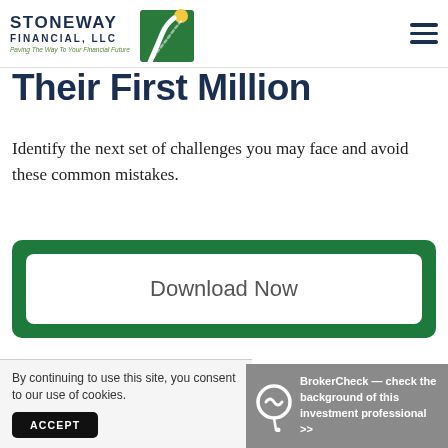[Figure (logo): Stoneway Financial LLC logo with green road/path graphic and tagline 'Paving The Way To Your Financial Future']
Their First Million
Identify the next set of challenges you may face and avoid these common mistakes.
Download Now
By continuing to use this site, you consent to our use of cookies.
ACCEPT
BrokerCheck — check the background of this investment professional >>